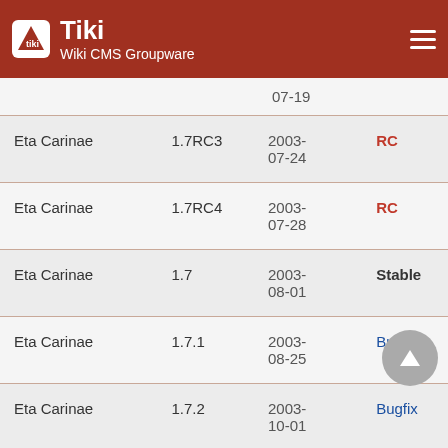Tiki Wiki CMS Groupware
| Name | Version | Date | Type |
| --- | --- | --- | --- |
|  |  | 07-19 |  |
| Eta Carinae | 1.7RC3 | 2003-07-24 | RC |
| Eta Carinae | 1.7RC4 | 2003-07-28 | RC |
| Eta Carinae | 1.7 | 2003-08-01 | Stable |
| Eta Carinae | 1.7.1 | 2003-08-25 | Bugfix |
| Eta Carinae | 1.7.2 | 2003-10-01 | Bugfix |